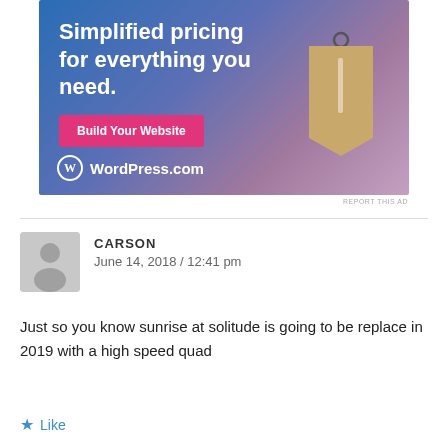[Figure (illustration): WordPress.com advertisement banner with blue-to-purple gradient background, white bold text reading 'Simplified pricing for everything you need.', a pink 'Build Your Website' button, a wooden price tag illustration on the right, and the WordPress.com logo at the bottom left.]
REPORT THIS AD
CARSON
June 14, 2018 / 12:41 pm
Just so you know sunrise at solitude is going to be replace in 2019 with a high speed quad
Like